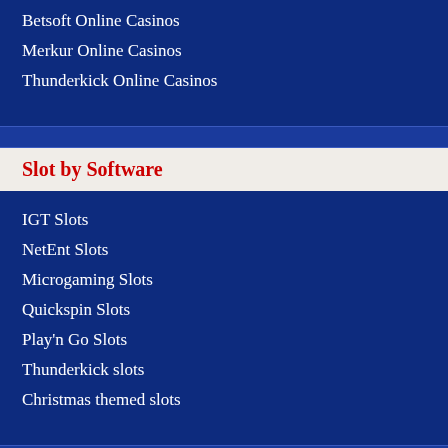Betsoft Online Casinos
Merkur Online Casinos
Thunderkick Online Casinos
Slot by Software
IGT Slots
NetEnt Slots
Microgaming Slots
Quickspin Slots
Play'n Go Slots
Thunderkick slots
Christmas themed slots
Online Casino Reviews